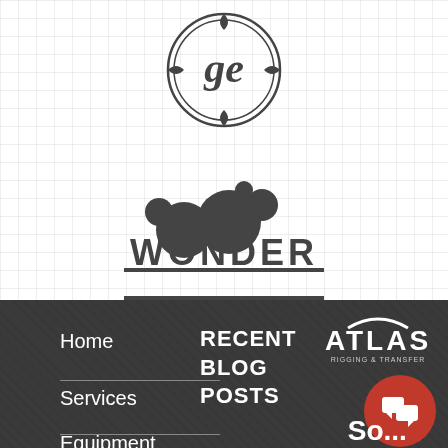[Figure (logo): GE (General Electric) circular logo in dark gray]
[Figure (logo): Wonder brand logo with bubble clusters above bold text WONDER and double underline]
[Figure (logo): Atlas Rigging & Transfer logo in white/red on dark background]
Home
Services
Equipment
RECENT BLOG POSTS
8... So... 4000